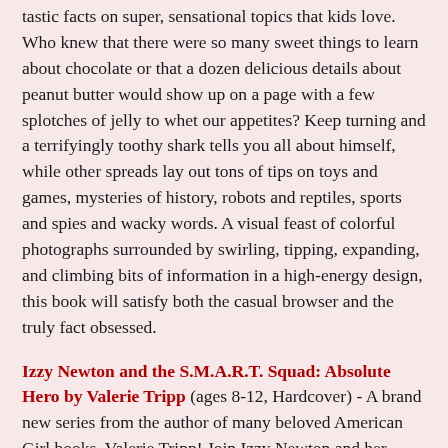tastic facts on super, sensational topics that kids love. Who knew that there were so many sweet things to learn about chocolate or that a dozen delicious details about peanut butter would show up on a page with a few splotches of jelly to whet our appetites? Keep turning and a terrifyingly toothy shark tells you all about himself, while other spreads lay out tons of tips on toys and games, mysteries of history, robots and reptiles, sports and spies and wacky words. A visual feast of colorful photographs surrounded by swirling, tipping, expanding, and climbing bits of information in a high-energy design, this book will satisfy both the casual browser and the truly fact obsessed.
Izzy Newton and the S.M.A.R.T. Squad: Absolute Hero by Valerie Tripp (ages 8-12, Hardcover) - A brand new series from the author of many beloved American Girl books, Valerie Tripp! Join Izzy Newton and her friends at Atom Middle School in the first adventure of this new middle-grade fiction series. A crowded new school and a crazy class schedule is enough to make Izzy feel dizzy. But for the S.M.A.R.T. Squad, it's all about relying on the value of friendship and the power of science to help them think their way through all kinds of sticky situations. Science and tech reign supreme when these five brainy buddies put their heads...